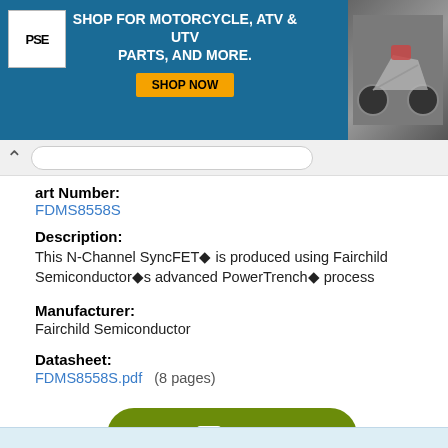[Figure (screenshot): Advertisement banner: PSE logo on left, text 'SHOP FOR MOTORCYCLE, ATV & UTV PARTS, AND MORE.' with yellow 'SHOP NOW' button, motorcycle image on right, on dark blue background.]
Part Number:
FDMS8558S
Description:
This N-Channel SyncFET◆ is produced using Fairchild Semiconductor◆s advanced PowerTrench◆ process
Manufacturer:
Fairchild Semiconductor
Datasheet:
FDMS8558S.pdf  (8 pages)